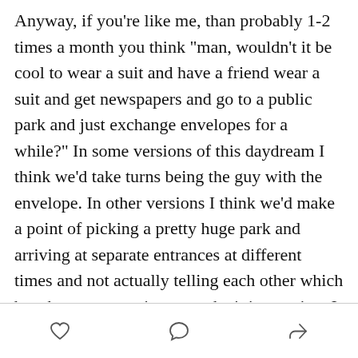Anyway, if you're like me, than probably 1-2 times a month you think "man, wouldn't it be cool to wear a suit and have a friend wear a suit and get newspapers and go to a public park and just exchange envelopes for a while?" In some versions of this daydream I think we'd take turns being the guy with the envelope. In other versions I think we'd make a point of picking a pretty huge park and arriving at separate entrances at different times and not actually telling each other which bench to meet on, just to make it interesting. I do think that whoever brought the envelope or the USB drive or whatever you were using would have a pretty big responsibility to put a really clever or really stupid message on the thing so that when the other person